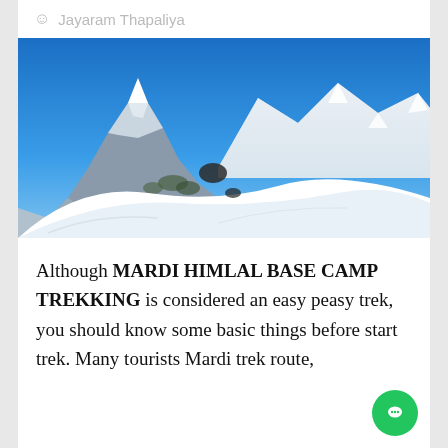Jayaram Thapaliya
[Figure (photo): Snow-covered Himalayan mountain landscape with a prominent rocky peak on the left under a deep blue sky, with snow-covered ridges and mountains in the background and white snow slopes in the foreground.]
Although MARDI HIMLAL BASE CAMP TREKKING is considered an easy peasy trek, you should know some basic things before start trek. Many tourists Mardi trek route,